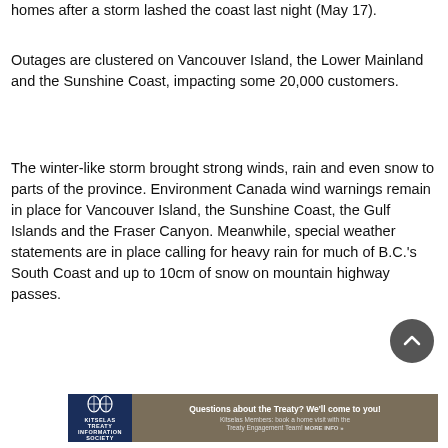homes after a storm lashed the coast last night (May 17).
Outages are clustered on Vancouver Island, the Lower Mainland and the Sunshine Coast, impacting some 20,000 customers.
The winter-like storm brought strong winds, rain and even snow to parts of the province. Environment Canada wind warnings remain in place for Vancouver Island, the Sunshine Coast, the Gulf Islands and the Fraser Canyon. Meanwhile, special weather statements are in place calling for heavy rain for much of B.C.'s South Coast and up to 10cm of snow on mountain highway passes.
[Figure (other): Scroll-to-top circular button with upward chevron icon, dark grey background]
[Figure (other): Kitselas Treaty Information Society advertisement banner. Left panel: dark navy blue with Kitselas logo and name. Right panel: brownish-grey with text 'Questions about the Treaty? We'll come to you! Kitselas Members: book a home visit with the Treaty Engagement Team! MORE INFO »']